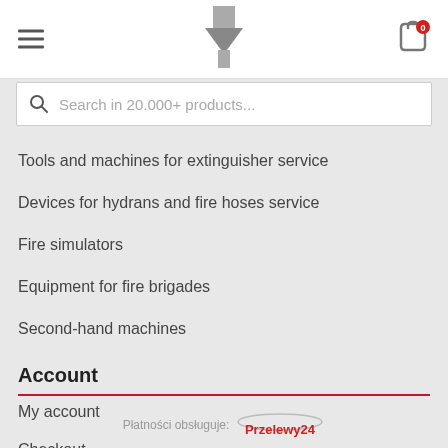[Figure (logo): Website header with hamburger menu, logo (gray M/arrow shape), and shopping cart icon with 0 badge]
Search in 20.000+ products...
Tools and machines for extinguisher service
Devices for hydrans and fire hoses service
Fire simulators
Equipment for fire brigades
Second-hand machines
Account
My account
Checkout
Cart
Płatności obsługuje: Przelewy24